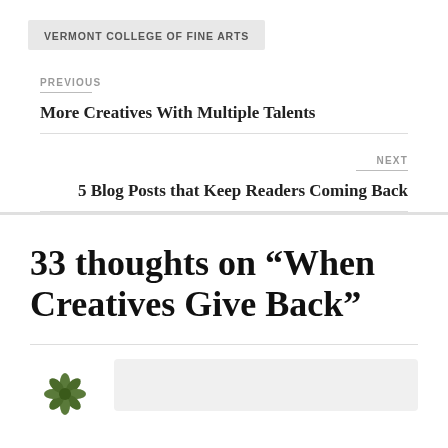VERMONT COLLEGE OF FINE ARTS
PREVIOUS
More Creatives With Multiple Talents
NEXT
5 Blog Posts that Keep Readers Coming Back
33 thoughts on “When Creatives Give Back”